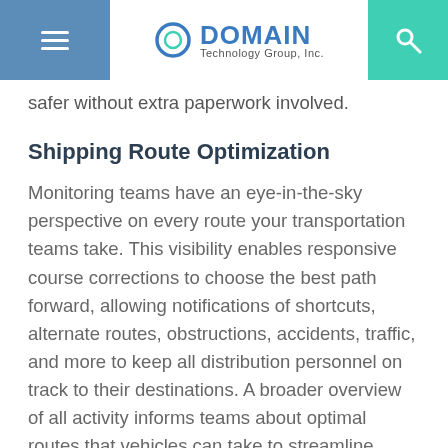DOMAIN Technology Group, Inc.
safer without extra paperwork involved.
Shipping Route Optimization
Monitoring teams have an eye-in-the-sky perspective on every route your transportation teams take. This visibility enables responsive course corrections to choose the best path forward, allowing notifications of shortcuts, alternate routes, obstructions, accidents, traffic, and more to keep all distribution personnel on track to their destinations. A broader overview of all activity informs teams about optimal routes that vehicles can take to streamline delivery and shorten arrival times.